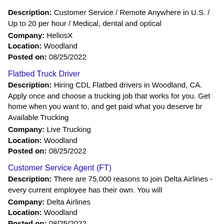Description: Customer Service / Remote Anywhere in U.S. / Up to 20 per hour / Medical, dental and optical
Company: HeliosX
Location: Woodland
Posted on: 08/25/2022
Flatbed Truck Driver
Description: Hiring CDL Flatbed drivers in Woodland, CA. Apply once and choose a trucking job that works for you. Get home when you want to, and get paid what you deserve br Available Trucking
Company: Live Trucking
Location: Woodland
Posted on: 08/25/2022
Customer Service Agent (FT)
Description: There are 75,000 reasons to join Delta Airlines - every current employee has their own. You will
Company: Delta Airlines
Location: Woodland
Posted on: 08/25/2022
Truck Driver Nights Full Time CDL A
Description: Apply Online Below for Immediate Consideration OR